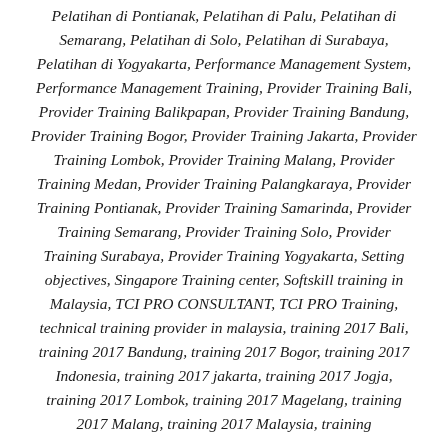Pelatihan di Pontianak, Pelatihan di Palu, Pelatihan di Semarang, Pelatihan di Solo, Pelatihan di Surabaya, Pelatihan di Yogyakarta, Performance Management System, Performance Management Training, Provider Training Bali, Provider Training Balikpapan, Provider Training Bandung, Provider Training Bogor, Provider Training Jakarta, Provider Training Lombok, Provider Training Malang, Provider Training Medan, Provider Training Palangkaraya, Provider Training Pontianak, Provider Training Samarinda, Provider Training Semarang, Provider Training Solo, Provider Training Surabaya, Provider Training Yogyakarta, Setting objectives, Singapore Training center, Softskill training in Malaysia, TCI PRO CONSULTANT, TCI PRO Training, technical training provider in malaysia, training 2017 Bali, training 2017 Bandung, training 2017 Bogor, training 2017 Indonesia, training 2017 jakarta, training 2017 Jogja, training 2017 Lombok, training 2017 Magelang, training 2017 Malang, training 2017 Malaysia, training